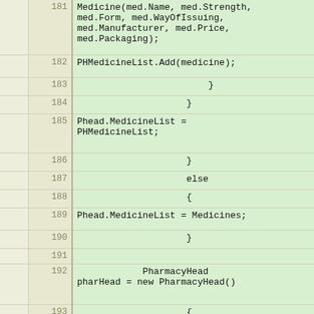[Figure (screenshot): Code editor screenshot showing lines 181-195 of source code. Left columns show gutter and line numbers on a beige/tan background, right column shows green-highlighted code content with monospace font. Code appears to be C# implementing pharmacy/medicine list logic.]